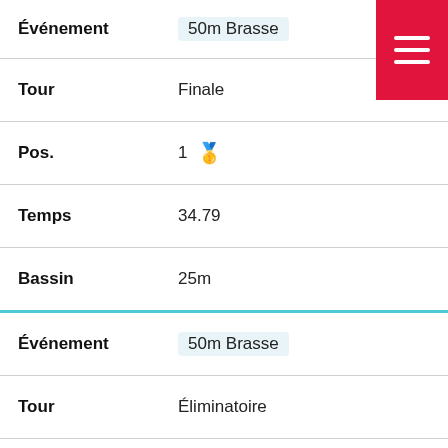| Field | Value |
| --- | --- |
| Événement | 50m Brasse |
| Tour | Finale |
| Pos. | 1 🥇 |
| Temps | 34.79 |
| Bassin | 25m |
| Événement | 50m Brasse |
| Tour | Éliminatoire |
| Pos. | 1 |
| Temps | 35.24 |